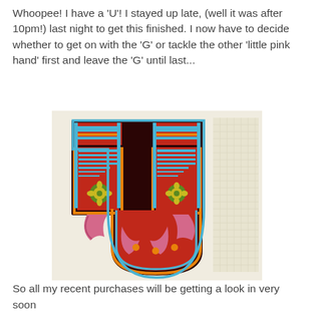Whoopee!  I have a 'U'!  I stayed up late, (well it was after 10pm!) last night to get this finished.  I now have to decide whether to get on with the 'G' or tackle the other 'little pink hand' first and leave the 'G' until last...
[Figure (photo): A needlepoint/cross-stitch embroidery showing the letter U in red with blue and orange borders, decorative flowers, and pink ribbon elements on a cream canvas background.]
So all my recent purchases will be getting a look in very soon